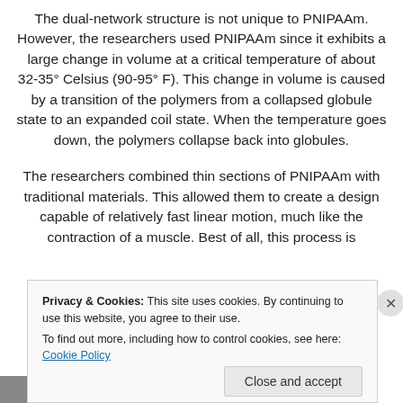The dual-network structure is not unique to PNIPAAm. However, the researchers used PNIPAAm since it exhibits a large change in volume at a critical temperature of about 32-35° Celsius (90-95° F). This change in volume is caused by a transition of the polymers from a collapsed globule state to an expanded coil state. When the temperature goes down, the polymers collapse back into globules.
The researchers combined thin sections of PNIPAAm with traditional materials. This allowed them to create a design capable of relatively fast linear motion, much like the contraction of a muscle. Best of all, this process is
Privacy & Cookies: This site uses cookies. By continuing to use this website, you agree to their use. To find out more, including how to control cookies, see here: Cookie Policy
Close and accept